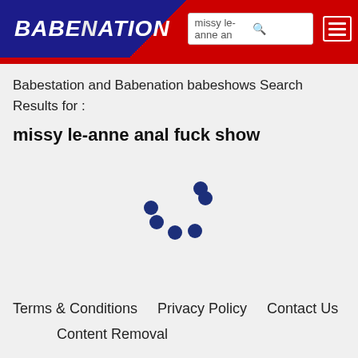BABENATION — missy le-anne an [search box] [menu]
Babestation and Babenation babeshows Search Results for :
missy le-anne anal fuck show
[Figure (other): Animated loading spinner — six dark blue dots arranged in a circle]
Terms & Conditions   Privacy Policy   Contact Us   Content Removal